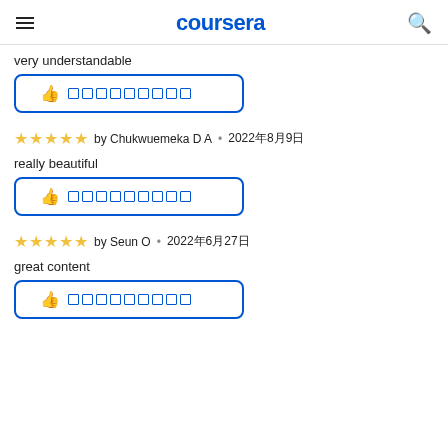coursera
very understandable
[Figure (other): Helpful button with thumbs up icon and placeholder squares]
★★★★★ by Chukwuemeka D A • 2022年8月9日
really beautiful
[Figure (other): Helpful button with thumbs up icon and placeholder squares]
★★★★★ by Seun O • 2022年6月27日
great content
[Figure (other): Helpful button with thumbs up icon and placeholder squares]